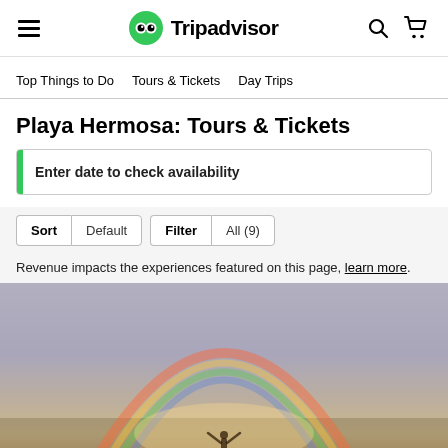Tripadvisor
Top Things to Do   Tours & Tickets   Day Trips
Playa Hermosa: Tours & Tickets
Enter date to check availability
Sort  Default  Filter  All (9)
Revenue impacts the experiences featured on this page, learn more.
[Figure (photo): Scenic photo of a beach/sky with a rainbow and a person with arms raised]